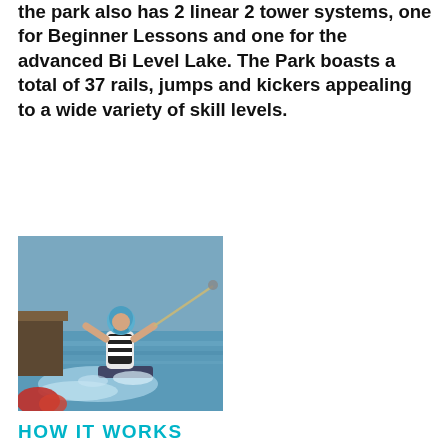the park also has 2 linear 2 tower systems, one for Beginner Lessons and one for the advanced Bi Level Lake. The Park boasts a total of 37 rails, jumps and kickers appealing to a wide variety of skill levels.
[Figure (photo): A young person wearing a helmet wakeboarding on a lake, being pulled by a cable, mid-action with water splashing around them.]
HOW IT WORKS
All participants at the Bli Bli Wake Park must firstly sign a waiver form and watch an instructional video at the check in counter that